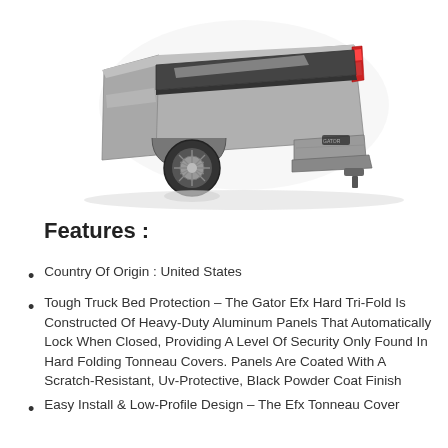[Figure (photo): Rear three-quarter view of a silver pickup truck with a Gator tonneau cover on the truck bed, shot on white background.]
Features :
Country Of Origin : United States
Tough Truck Bed Protection – The Gator Efx Hard Tri-Fold Is Constructed Of Heavy-Duty Aluminum Panels That Automatically Lock When Closed, Providing A Level Of Security Only Found In Hard Folding Tonneau Covers. Panels Are Coated With A Scratch-Resistant, Uv-Protective, Black Powder Coat Finish
Easy Install & Low-Profile Design – The Efx Tonneau Cover